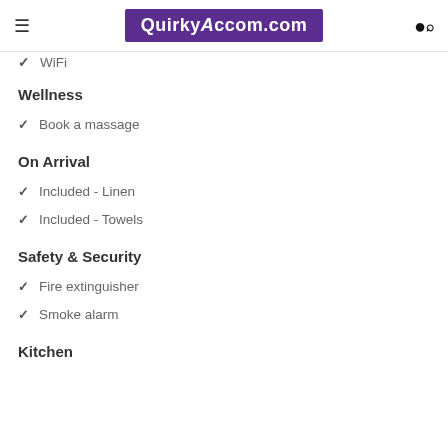QuirkyAccom.com
✔ WiFi
Wellness
✔ Book a massage
On Arrival
✔ Included - Linen
✔ Included - Towels
Safety & Security
✔ Fire extinguisher
✔ Smoke alarm
Kitchen